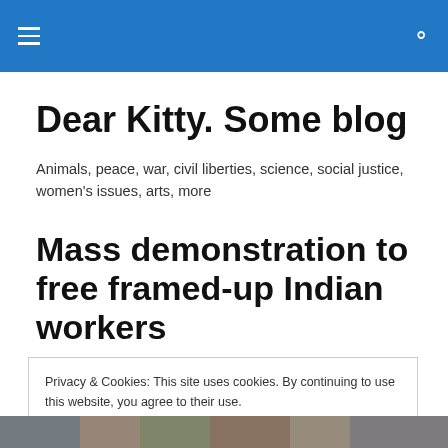Dear Kitty. Some blog — navigation header with hamburger menu and search icon
Dear Kitty. Some blog
Animals, peace, war, civil liberties, science, social justice, women's issues, arts, more
Mass demonstration to free framed-up Indian workers
Privacy & Cookies: This site uses cookies. By continuing to use this website, you agree to their use.
To find out more, including how to control cookies, see here: Cookie Policy
[Figure (photo): Group of people, bottom strip of a photograph showing the tops of heads and shoulders of several individuals]